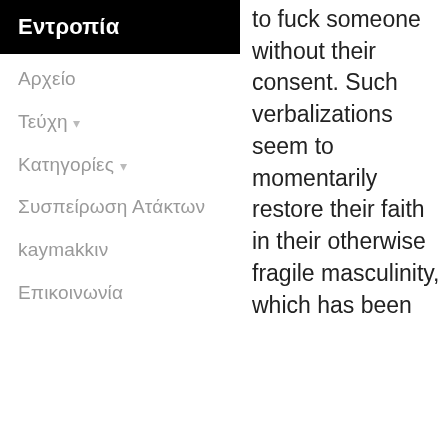Εντροπία
Αρχείο
Τεύχη ▾
Κατηγορίες ▾
Συσπείρωση Ατάκτων
kaymakkιν
Επικοινωνία
to fuck someone without their consent. Such verbalizations seem to momentarily restore their faith in their otherwise fragile masculinity, which has been